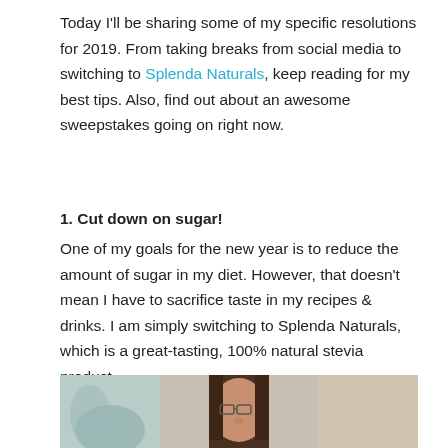Today I'll be sharing some of my specific resolutions for 2019. From taking breaks from social media to switching to Splenda Naturals, keep reading for my best tips. Also, find out about an awesome sweepstakes going on right now.
1. Cut down on sugar!
One of my goals for the new year is to reduce the amount of sugar in my diet. However, that doesn't mean I have to sacrifice taste in my recipes & drinks. I am simply switching to Splenda Naturals, which is a great-tasting, 100% natural stevia product.
[Figure (photo): Photo of a woman with long brown hair wearing glasses, photographed indoors with decorative background elements visible]